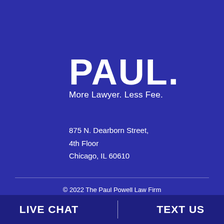PAUL.
More Lawyer. Less Fee.
875 N. Dearborn Street,
4th Floor
Chicago, IL 60610
© 2022 The Paul Powell Law Firm
Privacy Policy   |   Disclaimer   |   Terms & Conditions
LIVE CHAT   TEXT US